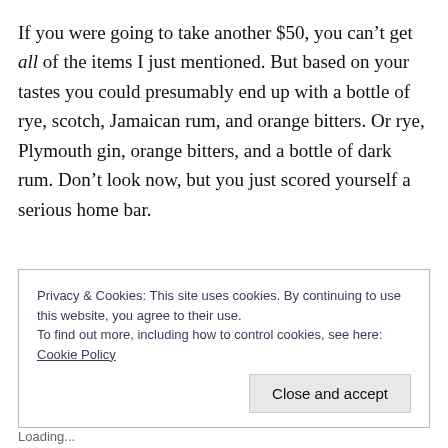If you were going to take another $50, you can't get all of the items I just mentioned. But based on your tastes you could presumably end up with a bottle of rye, scotch, Jamaican rum, and orange bitters. Or rye, Plymouth gin, orange bitters, and a bottle of dark rum. Don't look now, but you just scored yourself a serious home bar.
Privacy & Cookies: This site uses cookies. By continuing to use this website, you agree to their use. To find out more, including how to control cookies, see here: Cookie Policy
Loading...